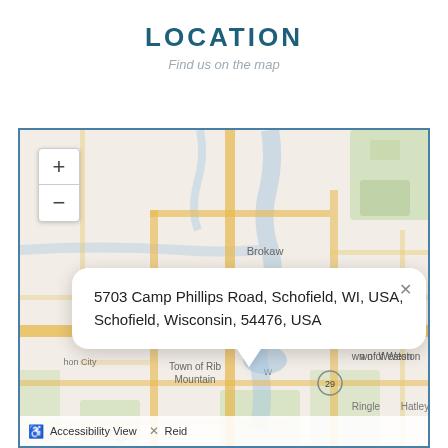LOCATION
Find us on the map
[Figure (map): Interactive map showing location at 5703 Camp Phillips Road, Schofield, WI, USA. Map displays the area around Schofield, Wisconsin including Brokaw, Town of Rib Mountain, Town of Weston, Hatley, Ringle. Green marker visible. Zoom +/- controls in top left. Popup balloon with address text. Accessibility View bar at bottom.]